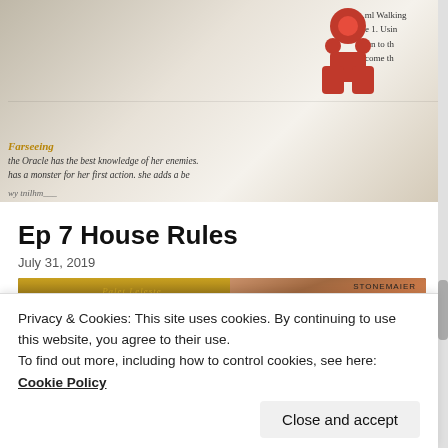[Figure (photo): Top portion of a board game card or rulebook showing italic text about 'Farseeing' and 'the Oracle', with a red meeple game piece visible in the upper right corner, on a light beige background.]
Ep 7 House Rules
July 31, 2019
[Figure (photo): Photograph of several board game boxes including Carcassonne 'Towering Glory' and another colorful game box, arranged side by side.]
Privacy & Cookies: This site uses cookies. By continuing to use this website, you agree to their use.
To find out more, including how to control cookies, see here: Cookie Policy
Close and accept